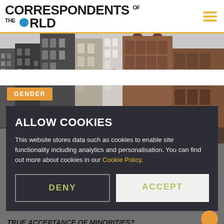CORRESPONDENTS OF THE WORLD
[Figure (screenshot): Website screenshot showing 'Correspondents of the World' news site with a cookie consent overlay dialog on top of a photo of Amsterdam-style buildings. The overlay has a dark background and contains 'ALLOW COOKIES' heading, explanatory text with a 'Cookie Policy' link, and DENY/ACCEPT buttons. A GENDER category badge is visible in the top-left of the photo. At the bottom, partially hidden text reads 'True Acceptance of Minorities?']
ALLOW COOKIES
This website stores data such as cookies to enable site functionality including analytics and personalisation. You can find out more about cookies in our Cookie Policy.
DENY
ACCEPT
GENDER
True Acceptance of Minorities?